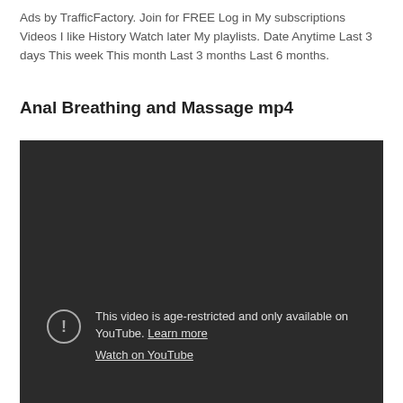Ads by TrafficFactory. Join for FREE Log in My subscriptions Videos I like History Watch later My playlists. Date Anytime Last 3 days This week This month Last 3 months Last 6 months.
Anal Breathing and Massage mp4
[Figure (screenshot): Dark video player showing an age-restricted YouTube video. A circle with exclamation mark icon is shown alongside text: 'This video is age-restricted and only available on YouTube. Learn more' and a 'Watch on YouTube' link.]